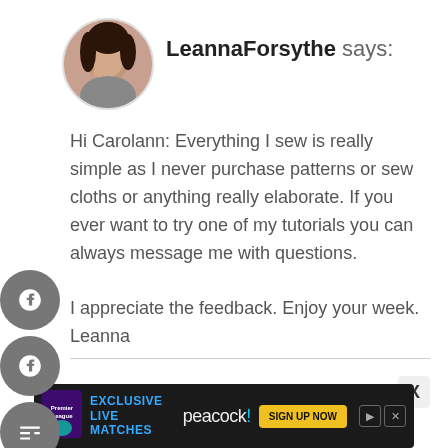[Figure (photo): Circular avatar photo of a woman with brown hair, posed with hand near chin, on a white/circular crop.]
LeannaForsythe says:
Hi Carolann: Everything I sew is really simple as I never purchase patterns or sew cloths or anything really elaborate. If you ever want to try one of my tutorials you can always message me with questions.

I appreciate the feedback. Enjoy your week.
Leanna
[Figure (screenshot): Advertisement banner for Premier League Exclusive Live Matches on Peacock with Sign Up Now button.]